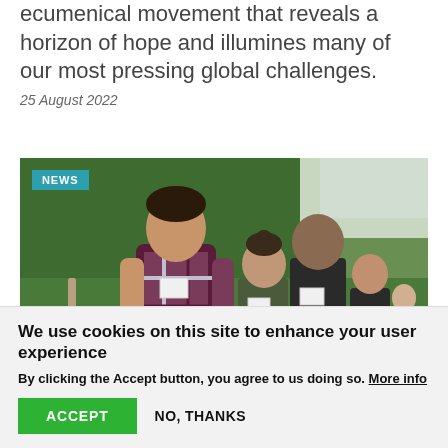ecumenical movement that reveals a horizon of hope and illumines many of our most pressing global challenges.
25 August 2022
[Figure (photo): Group of young people walking through a forested path outdoors, all wearing name tags. A man in a plaid shirt leads the group, with others following behind.]
We use cookies on this site to enhance your user experience
By clicking the Accept button, you agree to us doing so. More info
ACCEPT
NO, THANKS